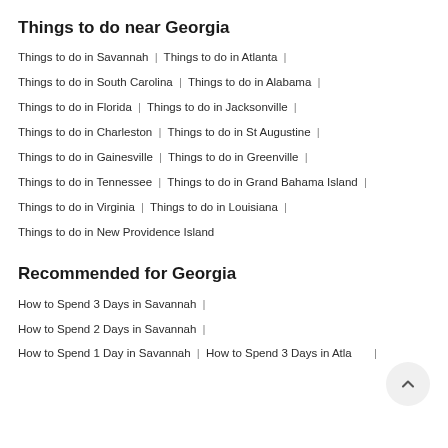Things to do near Georgia
Things to do in Savannah | Things to do in Atlanta |
Things to do in South Carolina | Things to do in Alabama |
Things to do in Florida | Things to do in Jacksonville |
Things to do in Charleston | Things to do in St Augustine |
Things to do in Gainesville | Things to do in Greenville |
Things to do in Tennessee | Things to do in Grand Bahama Island |
Things to do in Virginia | Things to do in Louisiana |
Things to do in New Providence Island
Recommended for Georgia
How to Spend 3 Days in Savannah |
How to Spend 2 Days in Savannah |
How to Spend 1 Day in Savannah | How to Spend 3 Days in Atlanta |